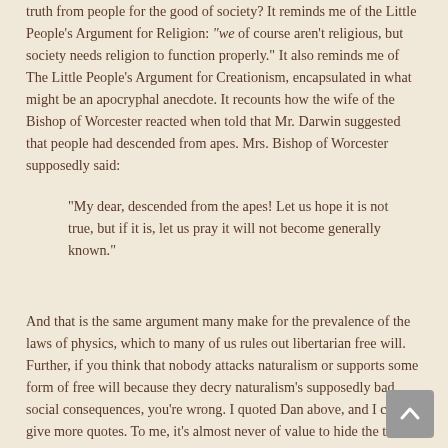truth from people for the good of society? It reminds me of the Little People's Argument for Religion: "we of course aren't religious, but society needs religion to function properly." It also reminds me of The Little People's Argument for Creationism, encapsulated in what might be an apocryphal anecdote. It recounts how the wife of the Bishop of Worcester reacted when told that Mr. Darwin suggested that people had descended from apes. Mrs. Bishop of Worcester supposedly said:
“My dear, descended from the apes! Let us hope it is not true, but if it is, let us pray it will not become generally known.”
And that is the same argument many make for the prevalence of the laws of physics, which to many of us rules out libertarian free will. Further, if you think that nobody attacks naturalism or supports some form of free will because they decry naturalism’s supposedly bad social consequences, you’re wrong. I quoted Dan above, and I could give more quotes. To me, it’s almost never of value to hide the truth about reality as a way to preserve social harmony.